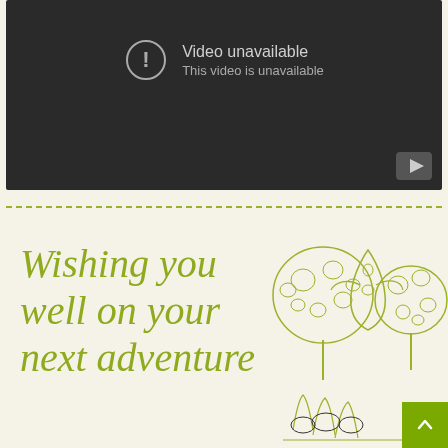[Figure (screenshot): YouTube-style video player showing 'Video unavailable / This video is unavailable' error message with exclamation icon on dark background, YouTube logo button at bottom right]
Wishing you well on your next adventure
[Figure (illustration): Decorative line drawing of stylized trees and plants in olive/yellow-green color scheme]